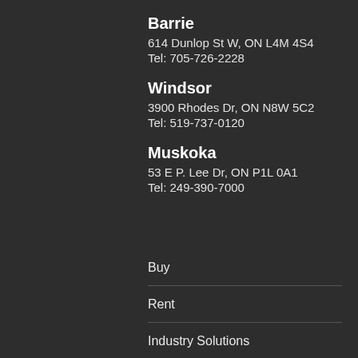Barrie
614 Dunlop St W, ON L4M 4S4
Tel: 705-726-2228
Windsor
3900 Rhodes Dr, ON N8W 5C2
Tel: 519-737-0120
Muskoka
53 E P. Lee Dr, ON P1L 0A1
Tel: 249-390-7000
Buy
Rent
Industry Solutions
Support